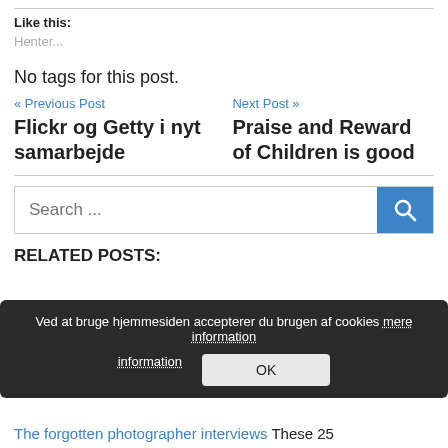Like this:
Henter...
No tags for this post.
« Previous Post
Flickr og Getty i nyt samarbejde
Next Post »
Praise and Reward of Children is good
Search ...
RELATED POSTS:
Ved at bruge hjemmesiden accepterer du brugen af cookies mere information
OK
The forgotten photographer interviews These 25